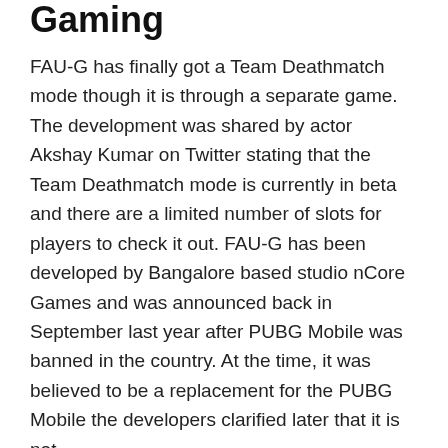Gaming
FAU-G has finally got a Team Deathmatch mode though it is through a separate game. The development was shared by actor Akshay Kumar on Twitter stating that the Team Deathmatch mode is currently in beta and there are a limited number of slots for players to check it out. FAU-G has been developed by Bangalore based studio nCore Games and was announced back in September last year after PUBG Mobile was banned in the country. At the time, it was believed to be a replacement for the PUBG Mobile the developers clarified later that it is not.
Bollywood star Akshay Kumar and founder of nCore Games Vishal Gondal announced FAU-G back in September last year and the game was released on January 26 this year after several delays. At the time of launch, there was only a single-player campaign with a